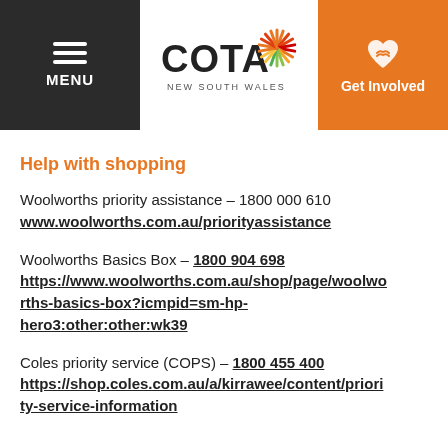MENU | COTA NEW SOUTH WALES | Get Involved
Help with shopping
Woolworths priority assistance – 1800 000 610 www.woolworths.com.au/priorityassistance
Woolworths Basics Box – 1800 904 698 https://www.woolworths.com.au/shop/page/woolworths-basics-box?icmpid=sm-hp-hero3:other:other:wk39
Coles priority service (COPS) – 1800 455 400 https://shop.coles.com.au/a/kirrawee/content/priority-service-information